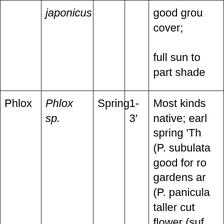| Common Name | Scientific Name | Season | Height | Notes |
| --- | --- | --- | --- | --- |
|  | japonicus |  |  | good ground cover;

full sun to part shade |
| Phlox | Phlox sp. | Spring | 1-3' | Most kinds native; early spring 'Thr (P. subulata good for ro gardens ar (P. panicula taller cut flower (suf from milde edging; "wi sweet |